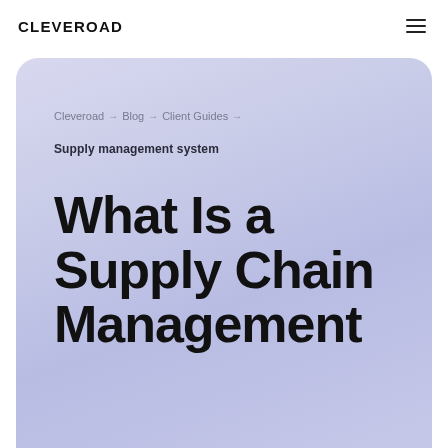CLEVEROAD
Cleveroad → Blog → Client Guides →
Supply management system
What Is a Supply Chain Management